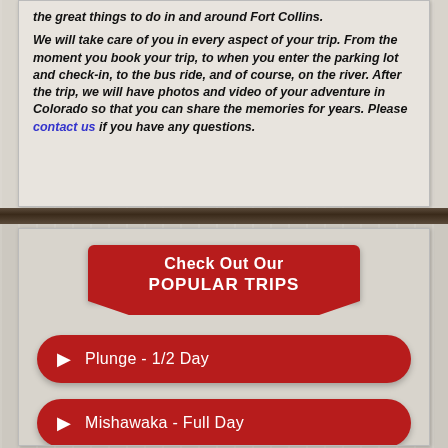the great things to do in and around Fort Collins. We will take care of you in every aspect of your trip. From the moment you book your trip, to when you enter the parking lot and check-in, to the bus ride, and of course, on the river. After the trip, we will have photos and video of your adventure in Colorado so that you can share the memories for years. Please contact us if you have any questions.
Check Out Our POPULAR TRIPS
▶ Plunge - 1/2 Day
▶ Mishawaka - Full Day